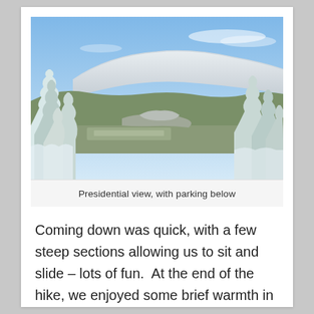[Figure (photo): Aerial winter mountain landscape photo showing snow-covered peaks of the Presidential Range with snow-laden evergreen trees in the foreground and a valley with parking area visible below. Blue sky with light clouds above.]
Presidential view, with parking below
Coming down was quick, with a few steep sections allowing us to sit and slide – lots of fun.  At the end of the hike, we enjoyed some brief warmth in the Highland Center Lodge, packed up our gear and headed back to Maine.